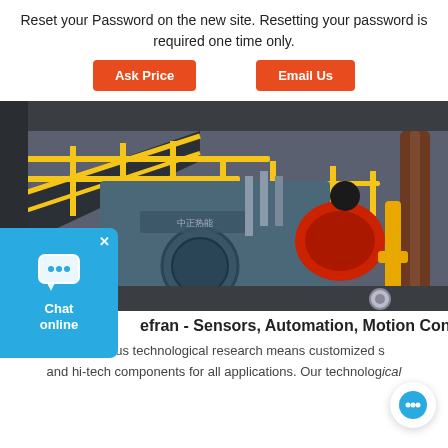Reset your Password on the new site. Resetting your password is required one time only.
Ask Price   Email Us
[Figure (photo): Industrial boiler/steam generator equipment in a factory setting, with yellow safety railings, blue boiler body, red burner, and various pipes and valves]
efran - Sensors, Automation, Motion Control: ...
Continuous technological research means customized s and hi-tech components for all applications. Our technological